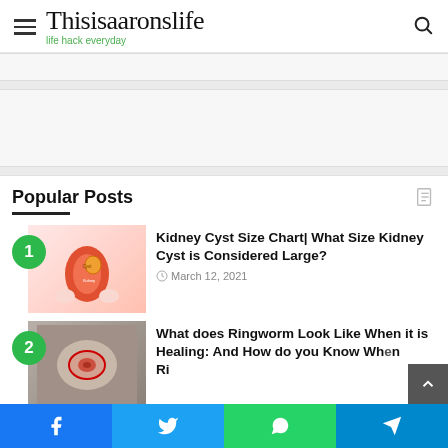Thisisaaronslife — life hack everyday
[Figure (other): Thin advertisement banner strip]
[Figure (other): Large advertisement banner]
Popular Posts
[Figure (photo): Kidney cyst illustration – hands holding kidney with cyst label]
Kidney Cyst Size Chart| What Size Kidney Cyst is Considered Large?
March 12, 2021
[Figure (photo): Ringworm skin condition photo]
What does Ringworm Look Like When it is Healing: And How do you Know When Ringworm is Healing
Facebook | Twitter | WhatsApp | Telegram